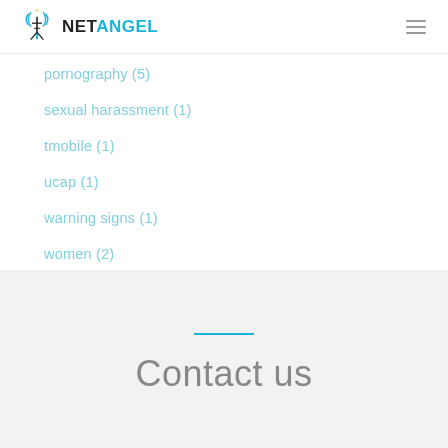NET ANGEL
pornography (5)
sexual harassment (1)
tmobile (1)
ucap (1)
warning signs (1)
women (2)
work (1)
Contact us